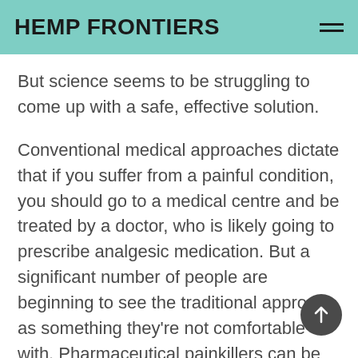HEMP FRONTIERS
But science seems to be struggling to come up with a safe, effective solution.
Conventional medical approaches dictate that if you suffer from a painful condition, you should go to a medical centre and be treated by a doctor, who is likely going to prescribe analgesic medication. But a significant number of people are beginning to see the traditional approach as something they're not comfortable with. Pharmaceutical painkillers can be expensive and can sometimes cause unwanted side effects.